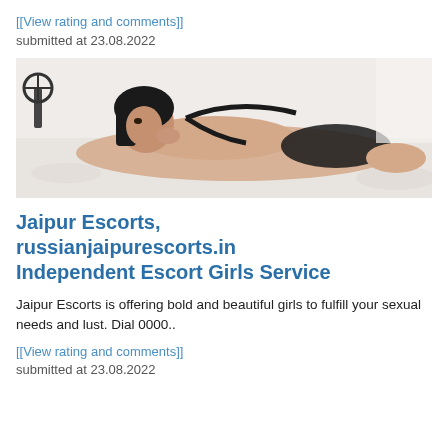[[View rating and comments]]
submitted at 23.08.2022
[Figure (photo): Woman in black lingerie lying on a white bed, photographed from behind, looking toward camera. Dark hair, studio setting with fan visible in background.]
Jaipur Escorts, russianjaipurescorts.in Independent Escort Girls Service
Jaipur Escorts is offering bold and beautiful girls to fulfill your sexual needs and lust. Dial 0000..
[[View rating and comments]]
submitted at 23.08.2022